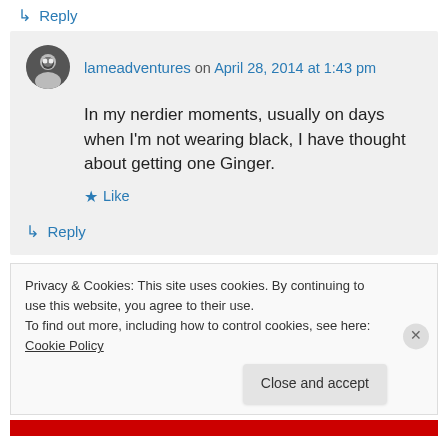↳ Reply
lameadventures on April 28, 2014 at 1:43 pm
In my nerdier moments, usually on days when I'm not wearing black, I have thought about getting one Ginger.
★ Like
↳ Reply
Privacy & Cookies: This site uses cookies. By continuing to use this website, you agree to their use.
To find out more, including how to control cookies, see here: Cookie Policy
Close and accept